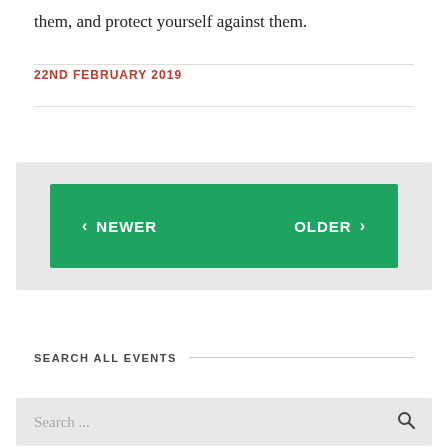them, and protect yourself against them.
22ND FEBRUARY 2019
[Figure (other): Navigation buttons: < NEWER on left, OLDER > on right, displayed as white text on a green (#1ea361) button inside a light grey container.]
SEARCH ALL EVENTS
[Figure (other): Search input box with placeholder text 'Search ...' and a magnifying glass icon on the right, on a light grey background.]